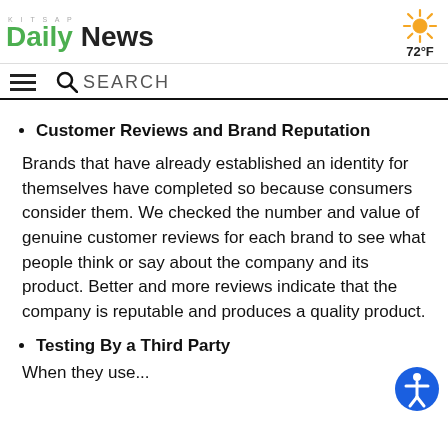KITSAP Daily News — 72°F
☰ SEARCH
Customer Reviews and Brand Reputation
Brands that have already established an identity for themselves have completed so because consumers consider them. We checked the number and value of genuine customer reviews for each brand to see what people think or say about the company and its product. Better and more reviews indicate that the company is reputable and produces a quality product.
Testing By a Third Party
When they use...